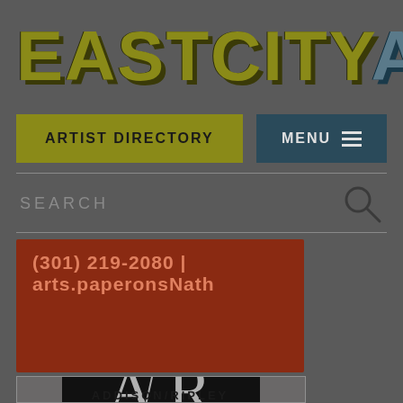[Figure (logo): EastCityArt logo in large bold stylized text, 'EASTCITY' in olive/yellow-green color, 'ART' in blue-gray color, with drop shadow effect]
[Figure (screenshot): Navigation bar with 'ARTIST DIRECTORY' button in olive/yellow-green background and 'MENU' button with hamburger icon in dark teal background]
SEARCH
(301) 219-2080 | arts.paperonsNath
[Figure (logo): Addison/Ripley gallery logo: white 'A/R' letters on black background]
ADDISON/RIPLEY